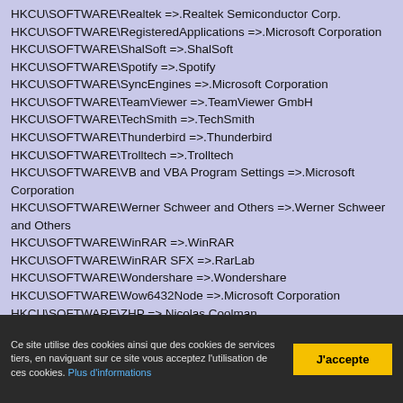HKCU\SOFTWARE\Realtek =>.Realtek Semiconductor Corp.
HKCU\SOFTWARE\RegisteredApplications =>.Microsoft Corporation
HKCU\SOFTWARE\ShalSoft =>.ShalSoft
HKCU\SOFTWARE\Spotify =>.Spotify
HKCU\SOFTWARE\SyncEngines =>.Microsoft Corporation
HKCU\SOFTWARE\TeamViewer =>.TeamViewer GmbH
HKCU\SOFTWARE\TechSmith =>.TechSmith
HKCU\SOFTWARE\Thunderbird =>.Thunderbird
HKCU\SOFTWARE\Trolltech =>.Trolltech
HKCU\SOFTWARE\VB and VBA Program Settings =>.Microsoft Corporation
HKCU\SOFTWARE\Werner Schweer and Others =>.Werner Schweer and Others
HKCU\SOFTWARE\WinRAR =>.WinRAR
HKCU\SOFTWARE\WinRAR SFX =>.RarLab
HKCU\SOFTWARE\Wondershare =>.Wondershare
HKCU\SOFTWARE\Wow6432Node =>.Microsoft Corporation
HKCU\SOFTWARE\ZHP =>.Nicolas Coolman
Ce site utilise des cookies ainsi que des cookies de services tiers, en naviguant sur ce site vous acceptez l'utilisation de ces cookies. Plus d'informations